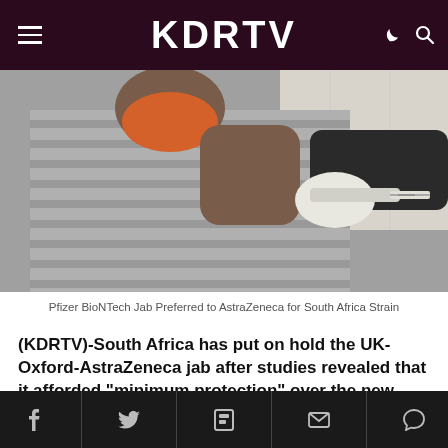KDRTV
[Figure (photo): A person receiving a vaccine injection in the upper arm from a gloved healthcare worker. The person is wearing a grey striped top and an orange face mask.]
Pfizer BioNTech Jab Preferred to AstraZeneca for South Africa Strain
(KDRTV)-South Africa has put on hold the UK-Oxford-AstraZeneca jab after studies revealed that it afforded “minimum protection” over the new Covid variant
Social share icons: Facebook, Twitter, Flipboard, Email, Comment